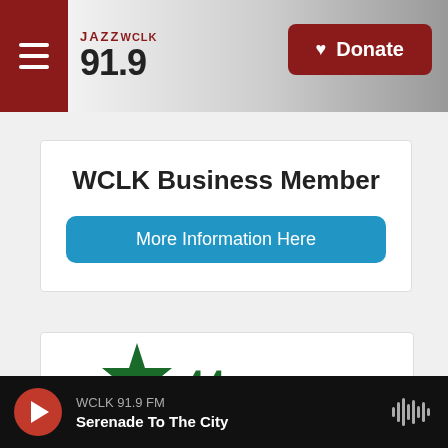JAZZ WCLK 91.9 | Donate
WCLK Business Member
More Information Here
[Figure (logo): Partial green star/logo visible at bottom of second card]
WCLK 91.9 FM | Serenade To The City